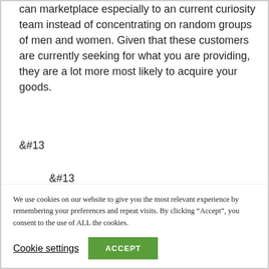can marketplace especially to an current curiosity team instead of concentrating on random groups of men and women. Given that these customers are currently seeking for what you are providing, they are a lot more most likely to acquire your goods.
&#13
&#13
2. Your competitors are unable to replicate your accomplishment
We use cookies on our website to give you the most relevant experience by remembering your preferences and repeat visits. By clicking “Accept”, you consent to the use of ALL the cookies.